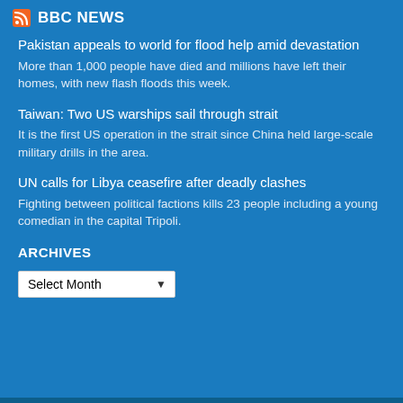BBC NEWS
Pakistan appeals to world for flood help amid devastation
More than 1,000 people have died and millions have left their homes, with new flash floods this week.
Taiwan: Two US warships sail through strait
It is the first US operation in the strait since China held large-scale military drills in the area.
UN calls for Libya ceasefire after deadly clashes
Fighting between political factions kills 23 people including a young comedian in the capital Tripoli.
ARCHIVES